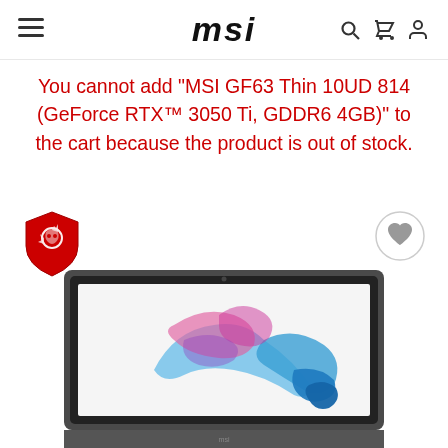MSI navigation header with hamburger menu, MSI logo, search, cart, and user icons
You cannot add "MSI GF63 Thin 10UD 814 (GeForce RTX™ 3050 Ti, GDDR6 4GB)" to the cart because the product is out of stock.
[Figure (logo): MSI red dragon shield logo]
[Figure (other): Wishlist/heart button circle]
[Figure (photo): MSI GF63 Thin laptop showing colorful paint splash on screen]